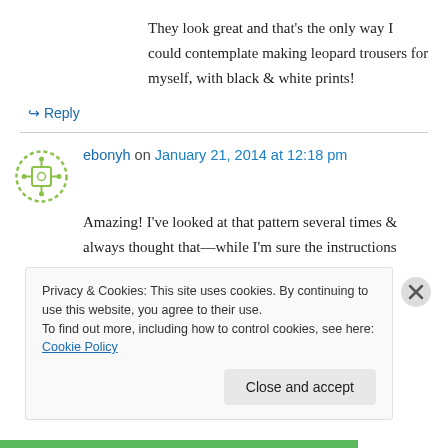They look great and that’s the only way I could contemplate making leopard trousers for myself, with black & white prints!
↳ Reply
ebonyh on January 21, 2014 at 12:18 pm
Amazing! I’ve looked at that pattern several times & always thought that—while I’m sure the instructions would be awesome—it just looked
Privacy & Cookies: This site uses cookies. By continuing to use this website, you agree to their use.
To find out more, including how to control cookies, see here: Cookie Policy
Close and accept